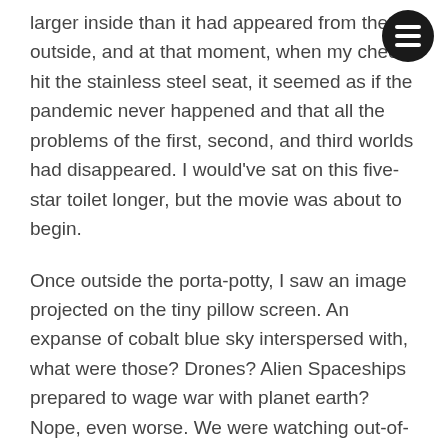larger inside than it had appeared from the outside, and at that moment, when my cheeks hit the stainless steel seat, it seemed as if the pandemic never happened and that all the problems of the first, second, and third worlds had disappeared. I would've sat on this five-star toilet longer, but the movie was about to begin.
Once outside the porta-potty, I saw an image projected on the tiny pillow screen. An expanse of cobalt blue sky interspersed with, what were those? Drones? Alien Spaceships prepared to wage war with planet earth? Nope, even worse. We were watching out-of-focus icons, files, and folders. It looked like a trailer for Laptop Screen: The Movie. A cartoon or ad for concession treats would have been more appropriate, but at least